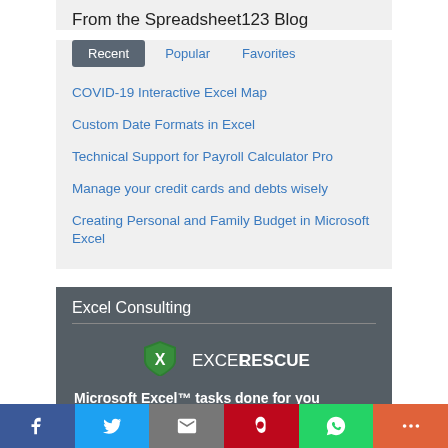From the Spreadsheet123 Blog
Recent | Popular | Favorites
COVID-19 Interactive Excel Map
Custom Date Formats in Excel
Technical Support for Payroll Calculator Pro
Manage your credit cards and debts wisely
Creating Personal and Family Budget in Microsoft Excel
Excel Consulting
[Figure (logo): ExcelRescue logo with green shield icon and text EXCELRESCUE]
Microsoft Excel™ tasks done for you